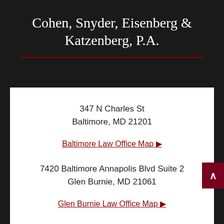Cohen, Snyder, Eisenberg & Katzenberg, P.A.
347 N Charles St
Baltimore, MD 21201
Baltimore Law Office Map ▶
7420 Baltimore Annapolis Blvd Suite 2
Glen Burnie, MD 21061
Glen Burnie Law Office Map ▶